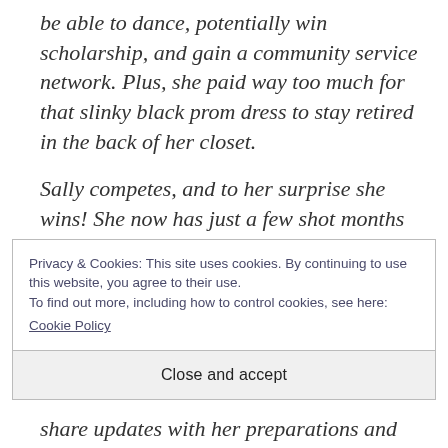be able to dance, potentially win scholarship, and gain a community service network. Plus, she paid way too much for that slinky black prom dress to stay retired in the back of her closet.
Sally competes, and to her surprise she wins! She now has just a few shot months to prepare for Miss State. Once the initial
Privacy & Cookies: This site uses cookies. By continuing to use this website, you agree to their use.
To find out more, including how to control cookies, see here:
Cookie Policy
Close and accept
share updates with her preparations and